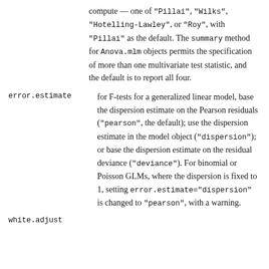compute — one of "Pillai", "Wilks", "Hotelling-Lawley", or "Roy", with "Pillai" as the default. The summary method for Anova.mlm objects permits the specification of more than one multivariate test statistic, and the default is to report all four.
error.estimate
for F-tests for a generalized linear model, base the dispersion estimate on the Pearson residuals ("pearson", the default); use the dispersion estimate in the model object ("dispersion"); or base the dispersion estimate on the residual deviance ("deviance"). For binomial or Poisson GLMs, where the dispersion is fixed to 1, setting error.estimate="dispersion" is changed to "pearson", with a warning.
white.adjust